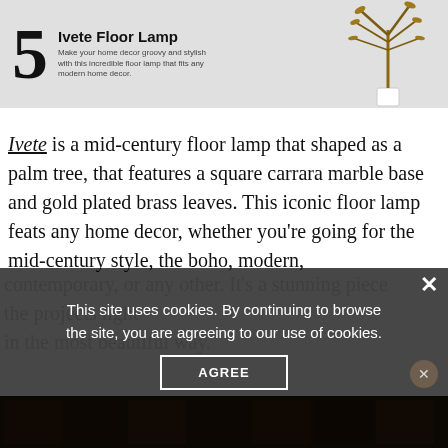[Figure (screenshot): Product banner with large number '5', title 'Ivete Floor Lamp', descriptive text, and a palm-tree shaped floor lamp illustration on grey background]
Ivete is a mid-century floor lamp that shaped as a palm tree, that features a square carrara marble base and gold plated brass leaves. This iconic floor lamp feats any home decor, whether you're going for the mid-century style, the boho, modern, contemporary, or any other. It's a stunning piece the projects light in the most beautiful way.
This site uses cookies. By continuing to browse the site, you are agreeing to our use of cookies.
AGREE